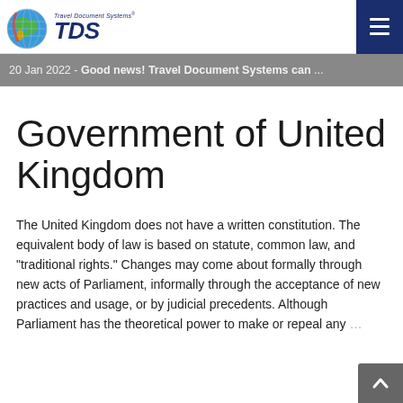Travel Document Systems TDS — navigation bar with hamburger menu
20 Jan 2022 - Good news! Travel Document Systems can ...
Government of United Kingdom
The United Kingdom does not have a written constitution. The equivalent body of law is based on statute, common law, and "traditional rights." Changes may come about formally through new acts of Parliament, informally through the acceptance of new practices and usage, or by judicial precedents. Although Parliament has the theoretical power to make or repeal any ...